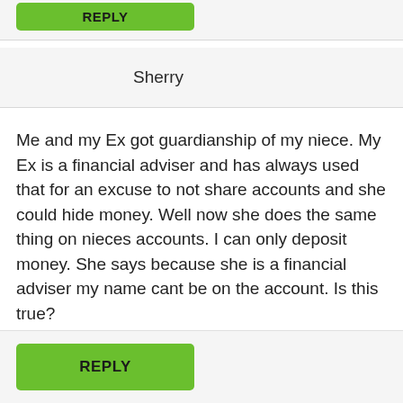[Figure (other): Green REPLY button at top of page (partially visible)]
Sherry
Me and my Ex got guardianship of my niece. My Ex is a financial adviser and has always used that for an excuse to not share accounts and she could hide money. Well now she does the same thing on nieces accounts. I can only deposit money. She says because she is a financial adviser my name cant be on the account. Is this true?
[Figure (other): Green REPLY button at bottom of page]